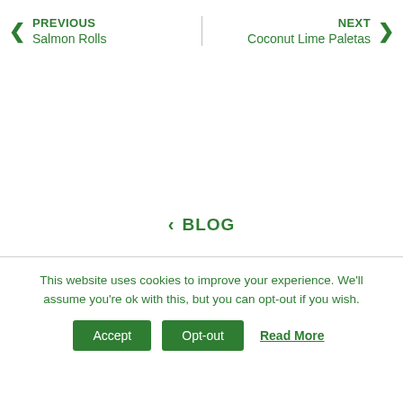PREVIOUS Salmon Rolls
NEXT Coconut Lime Paletas
< BLOG
This website uses cookies to improve your experience. We'll assume you're ok with this, but you can opt-out if you wish.
Accept | Opt-out | Read More